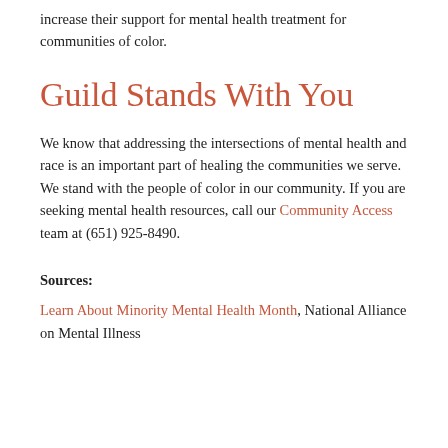increase their support for mental health treatment for communities of color.
Guild Stands With You
We know that addressing the intersections of mental health and race is an important part of healing the communities we serve. We stand with the people of color in our community. If you are seeking mental health resources, call our Community Access team at (651) 925-8490.
Sources:
Learn About Minority Mental Health Month, National Alliance on Mental Illness